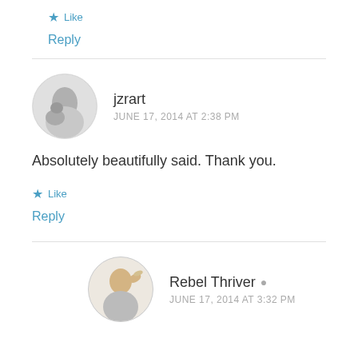★ Like
Reply
[Figure (photo): Circular avatar photo of jzrart, black and white image of a person with a dog]
jzrart
JUNE 17, 2014 AT 2:38 PM
Absolutely beautifully said. Thank you.
★ Like
Reply
[Figure (photo): Circular avatar photo of Rebel Thriver, blonde woman with hair in a ponytail]
Rebel Thriver
JUNE 17, 2014 AT 3:32 PM